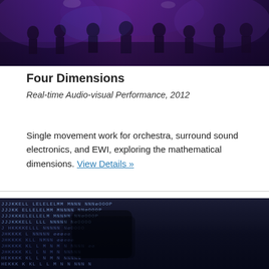[Figure (photo): Orchestra performing on stage with purple/blue stage lighting, musicians visible with instruments]
Four Dimensions
Real-time Audio-visual Performance, 2012
Single movement work for orchestra, surround sound electronics, and EWI, exploring the mathematical dimensions. View Details »
[Figure (photo): ASCII art / typographic image made of letters J K L M N O arranged in a grid pattern forming a face or portrait, displayed on a dark screen]